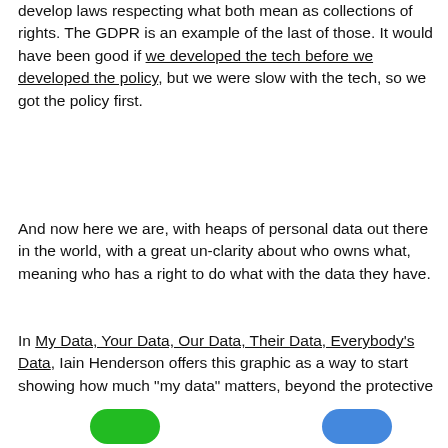develop laws respecting what both mean as collections of rights. The GDPR is an example of the last of those. It would have been good if we developed the tech before we developed the policy, but we were slow with the tech, so we got the policy first.
And now here we are, with heaps of personal data out there in the world, with a great un-clarity about who owns what, meaning who has a right to do what with the data they have.
In My Data, Your Data, Our Data, Their Data, Everybody's Data, Iain Henderson offers this graphic as a way to start showing how much "my data" matters, beyond the protective scope of the GDPR:
[Figure (illustration): Partial view of two colored rounded rectangles/buttons at the bottom — one green on the left and one blue on the right]